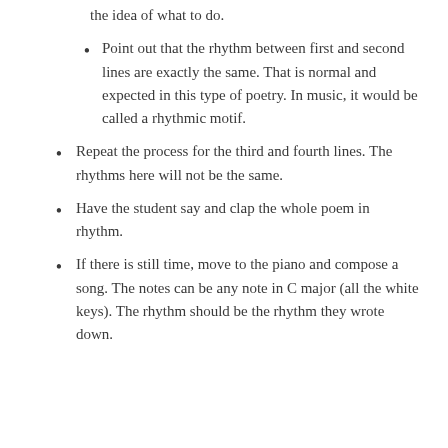the idea of what to do.
Point out that the rhythm between first and second lines are exactly the same. That is normal and expected in this type of poetry. In music, it would be called a rhythmic motif.
Repeat the process for the third and fourth lines. The rhythms here will not be the same.
Have the student say and clap the whole poem in rhythm.
If there is still time, move to the piano and compose a song. The notes can be any note in C major (all the white keys). The rhythm should be the rhythm they wrote down.